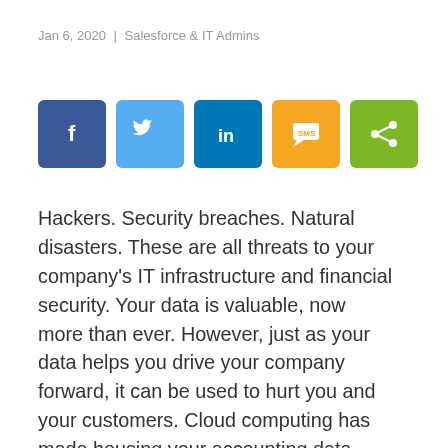Jan 6, 2020 | Salesforce & IT Admins
[Figure (other): Social share buttons: Facebook (blue), Twitter (light blue), LinkedIn (dark blue), SMS (orange/yellow), Share (green)]
Hackers. Security breaches. Natural disasters. These are all threats to your company’s IT infrastructure and financial security. Your data is valuable, now more than ever. However, just as your data helps you drive your company forward, it can be used to hurt you and your customers. Cloud computing has made housing your accounting data more easily accessible and faster to manage, even more accurate. But is true data security really possible for accounting on the cloud? While the threats of data breach or loss